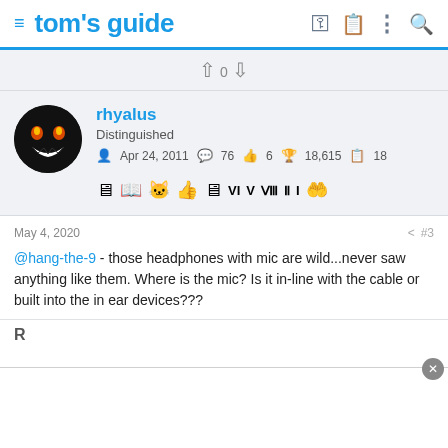tom's guide
↑ 0 ↓
rhyalus
Distinguished
Apr 24, 2011  76  6  18,615  18
May 4, 2020  #3
@hang-the-9 - those headphones with mic are wild...never saw anything like them. Where is the mic? Is it in-line with the cable or built into the in ear devices???